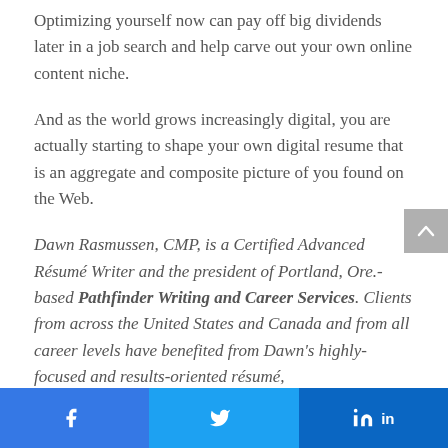Optimizing yourself now can pay off big dividends later in a job search and help carve out your own online content niche.
And as the world grows increasingly digital, you are actually starting to shape your own digital resume that is an aggregate and composite picture of you found on the Web.
Dawn Rasmussen, CMP, is a Certified Advanced Résumé Writer and the president of Portland, Ore.-based Pathfinder Writing and Career Services. Clients from across the United States and Canada and from all career levels have benefited from Dawn's highly-focused and results-oriented résumé, cover letter, and job search coaching services. Many
[Figure (other): Social sharing buttons: Facebook, Twitter, LinkedIn]